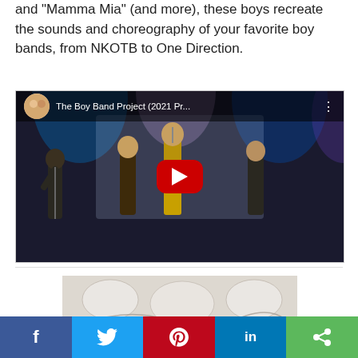and “Mamma Mia” (and more), these boys recreate the sounds and choreography of your favorite boy bands, from NKOTB to One Direction.
[Figure (screenshot): YouTube video embed thumbnail showing The Boy Band Project (2021 Pr...) with performers on stage in gold outfits with a large YouTube play button overlay]
[Figure (photo): Partial view of a merchandise or promotional image below a horizontal separator]
f  �  �  in  <